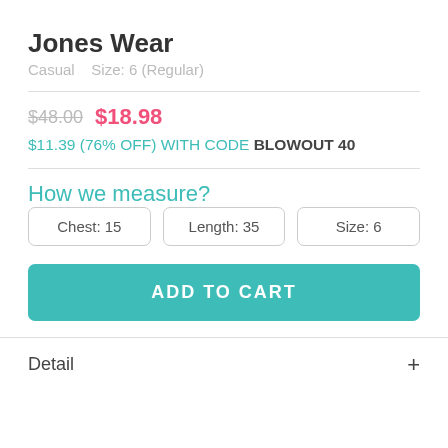Jones Wear
Casual    Size: 6 (Regular)
$48.00  $18.98
$11.39 (76% OFF) WITH CODE BLOWOUT 40
How we measure?
Chest: 15
Length: 35
Size: 6
ADD TO CART
Detail